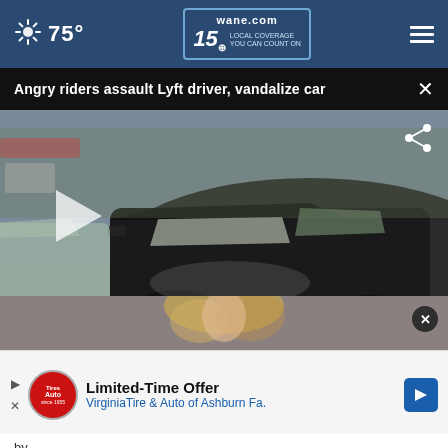75° | wane.com 15 LOCAL COVERAGE YOU CAN COUNT ON
Angry riders assault Lyft driver, vandalize car
[Figure (screenshot): Video thumbnail showing a dark SUV in a parking lot with play button overlay and lower-third chyron reading 'LYFT DRIVER ASSAULTED, CAR VANDALIZED']
[Figure (photo): Bottom popup showing partial view of a person with blonde hair]
Limited-Time Offer VirginiaTire & Auto of Ashburn Fa.